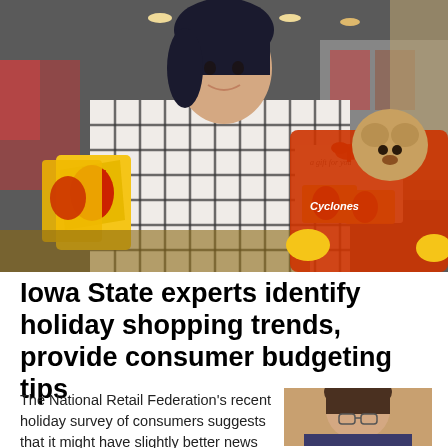[Figure (photo): Woman in a black-and-white plaid shirt standing in a retail store, holding gift cards and an envelope reading 'a gift for you' with a red bow. A stuffed mascot bear in a red Cyclones hoodie is visible to the right.]
Iowa State experts identify holiday shopping trends, provide consumer budgeting tips
The National Retail Federation's recent holiday survey of consumers suggests that it might have slightly better news for retail...
[Figure (photo): Headshot of a woman with dark hair and glasses.]